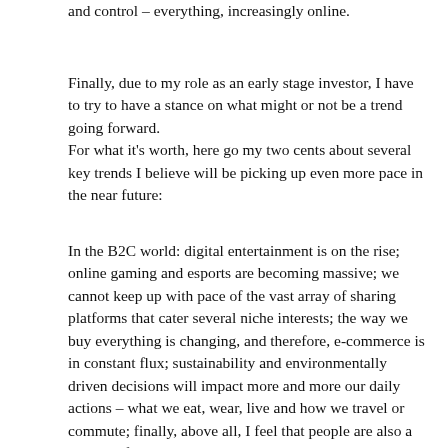and control – everything, increasingly online.
Finally, due to my role as an early stage investor, I have to try to have a stance on what might or not be a trend going forward.
For what it's worth, here go my two cents about several key trends I believe will be picking up even more pace in the near future:
In the B2C world: digital entertainment is on the rise; online gaming and esports are becoming massive; we cannot keep up with pace of the vast array of sharing platforms that cater several niche interests; the way we buy everything is changing, and therefore, e-commerce is in constant flux; sustainability and environmentally driven decisions will impact more and more our daily actions – what we eat, wear, live and how we travel or commute; finally, above all, I feel that people are also a lot more focused on their physical and mental health and